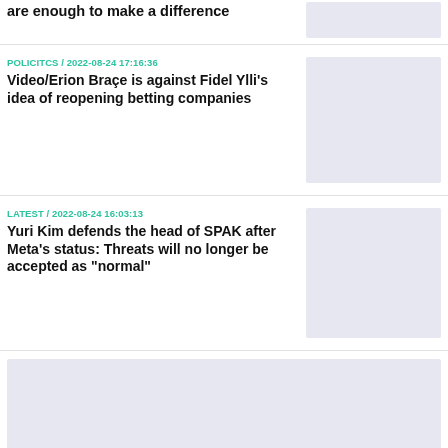are enough to make a difference
POLICITCS / 2022-08-24 17:16:36
Video/Erion Braçe is against Fidel Ylli's idea of reopening betting companies
LATEST / 2022-08-24 16:03:13
Yuri Kim defends the head of SPAK after Meta's status: Threats will no longer be accepted as "normal"